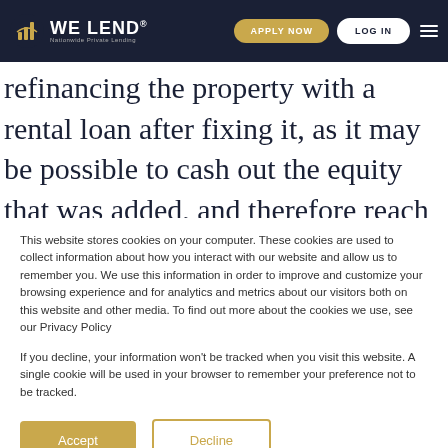WE LEND® Nationwide Private Lending | APPLY NOW | LOG IN
refinancing the property with a rental loan after fixing it, as it may be possible to cash out the equity that was added, and therefore reach the same goal had the property been flipped
This website stores cookies on your computer. These cookies are used to collect information about how you interact with our website and allow us to remember you. We use this information in order to improve and customize your browsing experience and for analytics and metrics about our visitors both on this website and other media. To find out more about the cookies we use, see our Privacy Policy
If you decline, your information won't be tracked when you visit this website. A single cookie will be used in your browser to remember your preference not to be tracked.